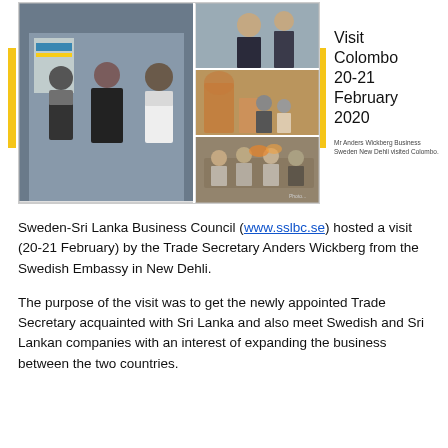[Figure (photo): Collage of photographs from the Colombo visit 20-21 February 2020. Shows business meeting and outdoor scenes with multiple people. Left side shows three people standing in front of a banner. Right side has a grid of three smaller photos.]
Visit Colombo 20-21 February 2020
Mr Anders Wickberg Business Sweden New Dehli visited Colombo.
Sweden-Sri Lanka Business Council (www.sslbc.se) hosted a visit (20-21 February) by the Trade Secretary Anders Wickberg from the Swedish Embassy in New Dehli.
The purpose of the visit was to get the newly appointed Trade Secretary acquainted with Sri Lanka and also meet Swedish and Sri Lankan companies with an interest of expanding the business between the two countries.